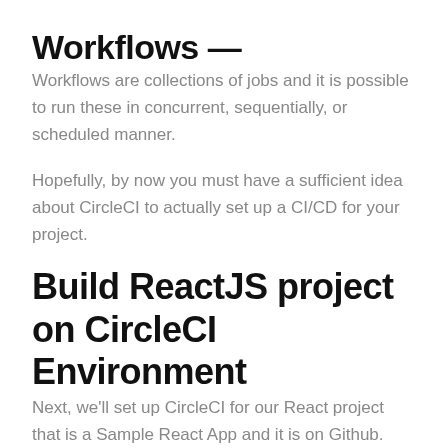Workflows —
Workflows are collections of jobs and it is possible to run these in concurrent, sequentially, or scheduled manner.
Hopefully, by now you must have a sufficient idea about CircleCI to actually set up a CI/CD for your project.
Build ReactJS project on CircleCI Environment
Next, we'll set up CircleCI for our React project that is a Sample React App and it is on Github.